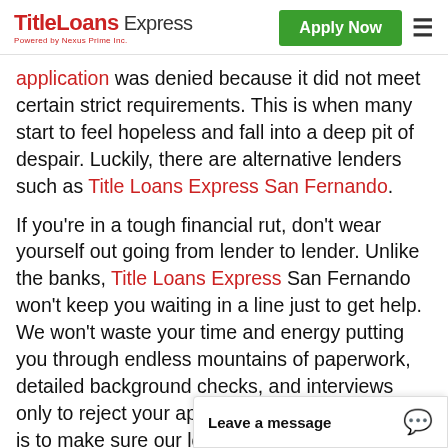TitleLoans Express — Powered by Nexus Prime Inc. | Apply Now
application was denied because it did not meet certain strict requirements. This is when many start to feel hopeless and fall into a deep pit of despair. Luckily, there are alternative lenders such as Title Loans Express San Fernando.
If you're in a tough financial rut, don't wear yourself out going from lender to lender. Unlike the banks, Title Loans Express San Fernando won't keep you waiting in a line just to get help. We won't waste your time and energy putting you through endless mountains of paperwork, detailed background checks, and interviews only to reject your application. Instead, our aim is to make sure our loan process is sim[ple and as convenient as] possible for you.